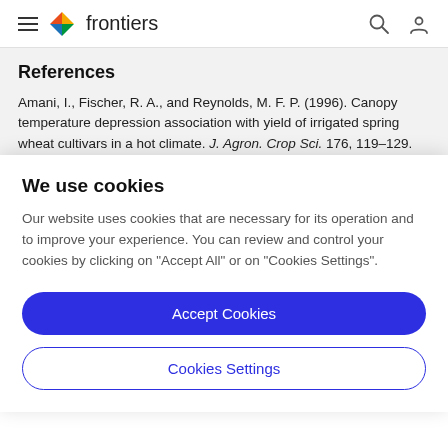frontiers
References
Amani, I., Fischer, R. A., and Reynolds, M. F. P. (1996). Canopy temperature depression association with yield of irrigated spring wheat cultivars in a hot climate. J. Agron. Crop Sci. 176, 119–129.
We use cookies
Our website uses cookies that are necessary for its operation and to improve your experience. You can review and control your cookies by clicking on "Accept All" or on "Cookies Settings".
Accept Cookies
Cookies Settings